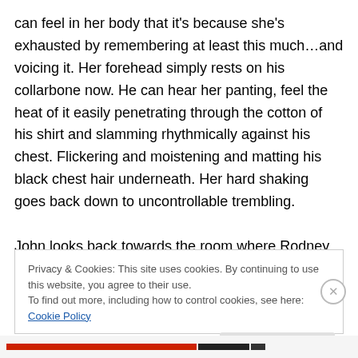can feel in her body that it's because she's exhausted by remembering at least this much…and voicing it.  Her forehead simply rests on his collarbone now.  He can hear her panting, feel the heat of it easily penetrating through the cotton of his shirt and slamming rhythmically against his chest.  Flickering and moistening and matting his black chest hair underneath.  Her hard shaking goes back down to uncontrollable trembling.

John looks back towards the room where Rodney and Lorne where…only they aren't there anymore, are they.
Privacy & Cookies: This site uses cookies. By continuing to use this website, you agree to their use.
To find out more, including how to control cookies, see here: Cookie Policy